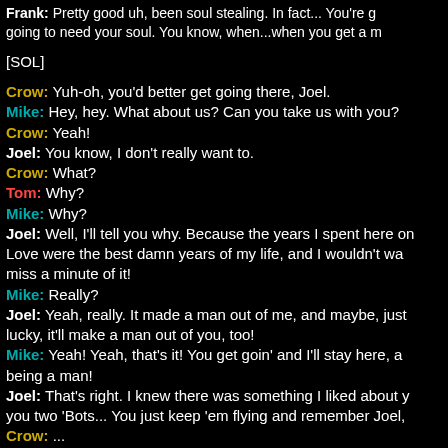Frank: Pretty good uh, been soul stealing. In fact... You're going to need your soul. You know, when...when you get a m
[SOL]
Crow: Yuh-oh, you'd better get going there, Joel.
Mike: Hey, hey. What about us? Can you take us with you?
Crow: Yeah!
Joel: You know, I don't really want to.
Crow: What?
Tom: Why?
Mike: Why?
Joel: Well, I'll tell you why. Because the years I spent here on Love were the best damn years of my life, and I wouldn't want to miss a minute of it!
Mike: Really?
Joel: Yeah, really. It made a man out of me, and maybe, just lucky, it'll make a man out of you, too!
Mike: Yeah! Yeah, that's it! You get goin' and I'll stay here, and being a man!
Joel: That's right. I knew there was something I liked about you two 'Bots... You just keep 'em flying and remember Joel,
Crow: ...